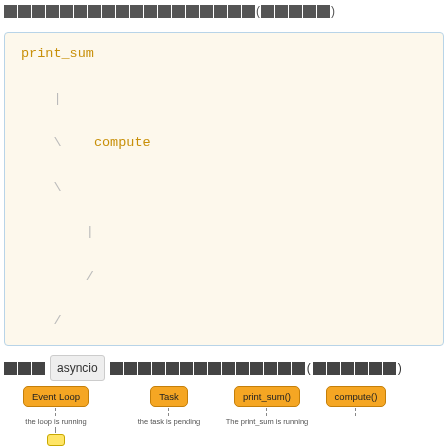[redacted] asyncio [redacted]([redacted])
[Figure (other): Code block showing a call tree / AST-style diagram in monospace. print_sum at top, then | connector, then \ compute branch, then further \ and | and / connectors below in golden/amber monospace font on cream background.]
[redacted] asyncio [redacted]([redacted])
[Figure (flowchart): Horizontal flow diagram showing boxes: Event Loop, Task, print_sum(), compute(). Below Event Loop: 'the loop is running'. Below Task: 'the task is pending'. Below print_sum() partial label visible. Dashed vertical lines descend from each box.]